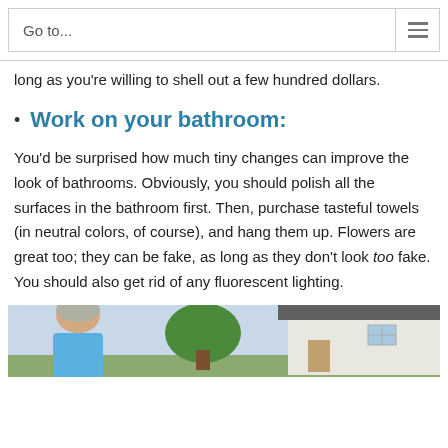Go to...
long as you're willing to shell out a few hundred dollars.
Work on your bathroom:
You'd be surprised how much tiny changes can improve the look of bathrooms. Obviously, you should polish all the surfaces in the bathroom first. Then, purchase tasteful towels (in neutral colors, of course), and hang them up. Flowers are great too; they can be fake, as long as they don't look too fake. You should also get rid of any fluorescent lighting.
[Figure (photo): Outdoor photo showing a person from behind, a tree, and a house exterior]